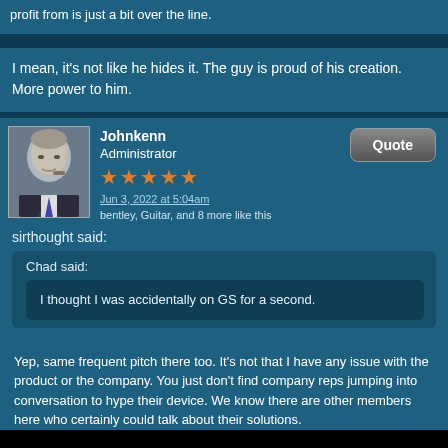profit from is just a bit over the line.
I mean, it's not like he hides it. The guy is proud of his creation. More power to him.
Johnkenn
Administrator
★★★★★
Jun 3, 2022 at 5:04am
bentley, Guitar, and 8 more like this
sirthought said:
Chad said:
I thought I was accidentally on GS for a second.
Yep, same frequent pitch there too. It's not that I have any issue with the product or the company. You just don't find company reps jumping into conversation to hype their device. We know there are other members here who certainly could talk about their solutions.